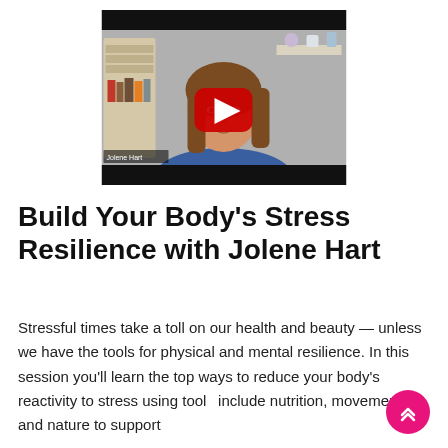[Figure (screenshot): Video thumbnail showing a woman with long brown hair wearing a blue outfit, with a red YouTube-style play button overlay in the center. Black bars at top and bottom. Name tag 'Jolene Hart' visible in lower left corner.]
Build Your Body's Stress Resilience with Jolene Hart
Stressful times take a toll on our health and beauty — unless we have the tools for physical and mental resilience. In this session you'll learn the top ways to reduce your body's reactivity to stress using tools include nutrition, movement, and nature to support